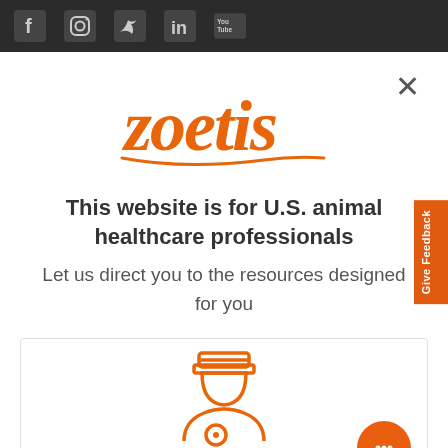[Figure (screenshot): Dark top bar with social media icons: Facebook, Instagram, Twitter, LinkedIn, YouTube]
[Figure (logo): Zoetis logo in orange italic script font with decorative underline]
This website is for U.S. animal healthcare professionals
Let us direct you to the resources designed for you
[Figure (illustration): Orange outline illustration of a veterinarian/doctor icon with stethoscope, inside a bordered card. Orange circular chat bubble button at bottom right.]